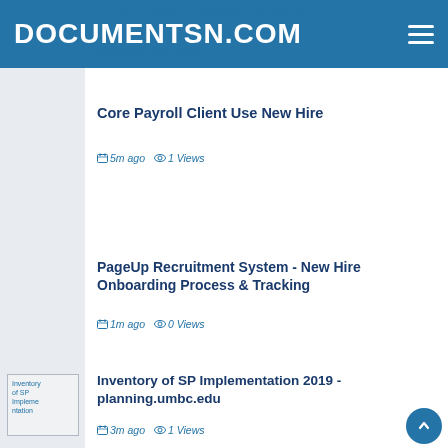DOCUMENTSN.COM
For Contract & Temporary Employees
4m ago  7 Views
Core Payroll Client Use New Hire
5m ago  1 Views
PageUp Recruitment System - New Hire Onboarding Process & Tracking
1m ago  0 Views
[Figure (screenshot): Thumbnail image for Inventory of SP Implementation document]
Inventory of SP Implementation 2019 - planning.umbc.edu
3m ago  1 Views